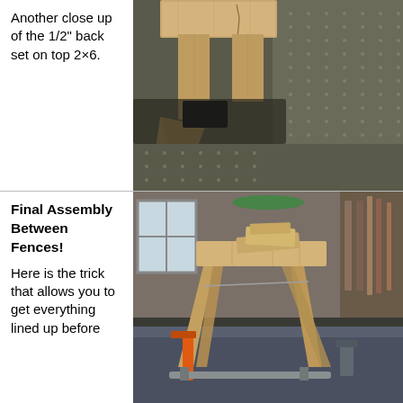Another close up of the 1/2" back set on top 2×6.
[Figure (photo): Close-up photo of wooden joint assembly showing 1/2 inch back set on top 2x6 lumber, viewed from below on a workshop mat.]
Final Assembly Between Fences!
Here is the trick that allows you to get everything lined up before
[Figure (photo): Photo of a wooden sawhorse-like assembly (final assembly between fences) on a workshop table, with clamps and tools visible in background.]